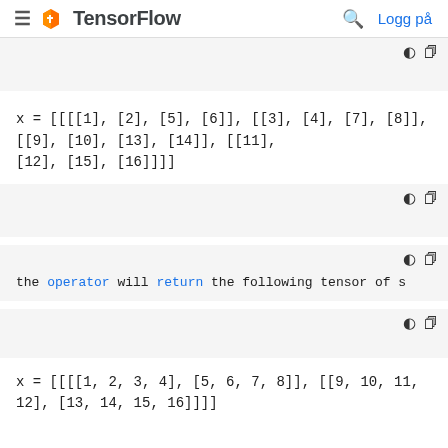TensorFlow — Logg på
x = [[[[1], [2], [5], [6]], [[3], [4], [7], [8]], [[9], [10], [13], [14]], [[11], [12], [15], [16]]]]
the operator will return the following tensor of s
x = [[[[1, 2, 3, 4], [5, 6, 7, 8]], [[9, 10, 11, 12], [13, 14, 15, 16]]]]